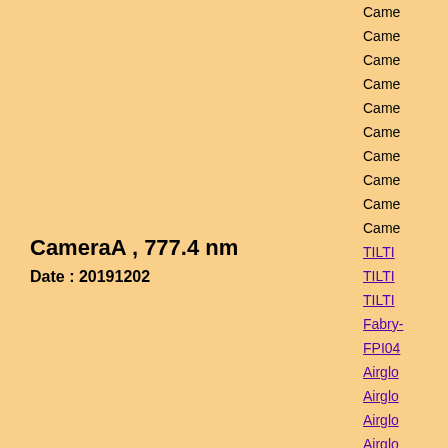CameraA , 777.4 nm
Date : 20191202
Click figure to enlarge
Came...
Came...
Came...
Came...
Came...
Came...
Came...
Came...
Came...
Came...
TILTI...
TILTI...
TILTI...
Fabry-...
FPI04...
Airglo...
Airglo...
Airglo...
Airglo...
Airglo...
Airglo...
3-ch p...
3-ch p...